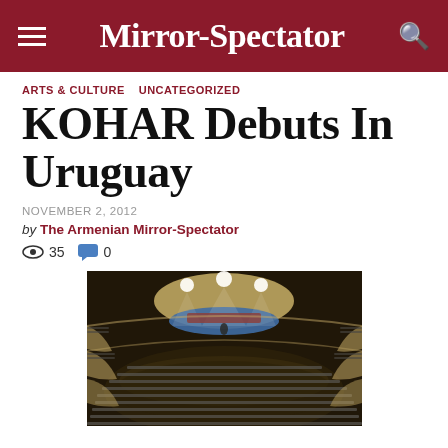Mirror-Spectator
ARTS & CULTURE  UNCATEGORIZED
KOHAR Debuts In Uruguay
NOVEMBER 2, 2012
by The Armenian Mirror-Spectator
35  0
[Figure (photo): Wide-angle overhead view of a large ornate concert hall with curved balcony levels filled with audience members, and a lit stage showing a choir and orchestra performing under bright lights.]